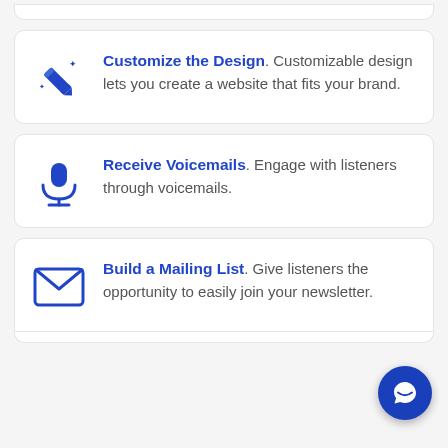Customize the Design. Customizable design lets you create a website that fits your brand.
Receive Voicemails. Engage with listeners through voicemails.
Build a Mailing List. Give listeners the opportunity to easily join your newsletter.